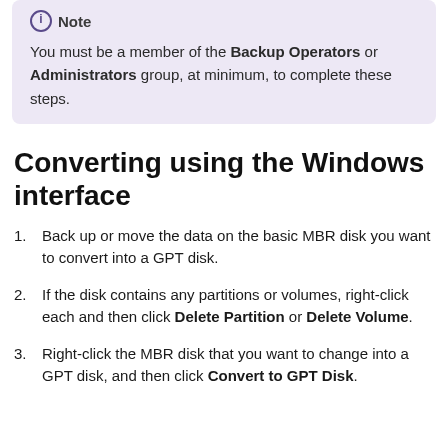Note
You must be a member of the Backup Operators or Administrators group, at minimum, to complete these steps.
Converting using the Windows interface
Back up or move the data on the basic MBR disk you want to convert into a GPT disk.
If the disk contains any partitions or volumes, right-click each and then click Delete Partition or Delete Volume.
Right-click the MBR disk that you want to change into a GPT disk, and then click Convert to GPT Disk.